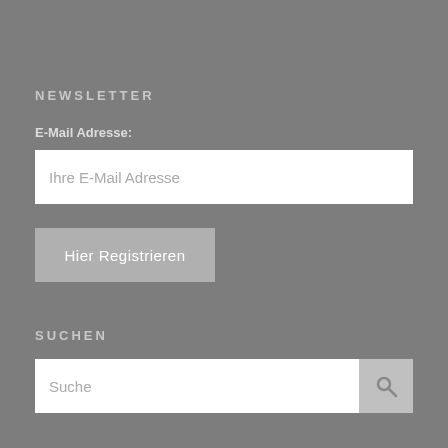NEWSLETTER
E-Mail Adresse:
Ihre E-Mail Adresse
Hier Registrieren
SUCHEN
Suche